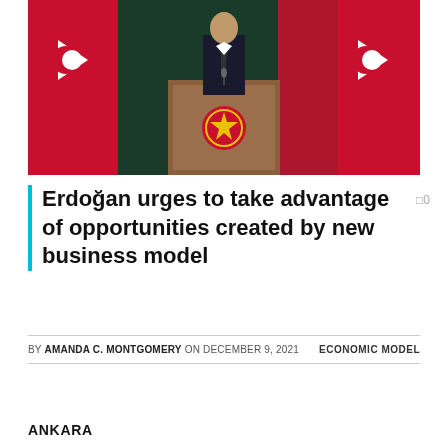[Figure (photo): A man in a suit standing at a wooden podium with Turkish flags on either side. The podium has a red emblem. The background is dark green.]
Erdoğan urges to take advantage of opportunities created by new business model
BY AMANDA C. MONTGOMERY ON DECEMBER 9, 2021   ECONOMIC MODEL
ANKARA